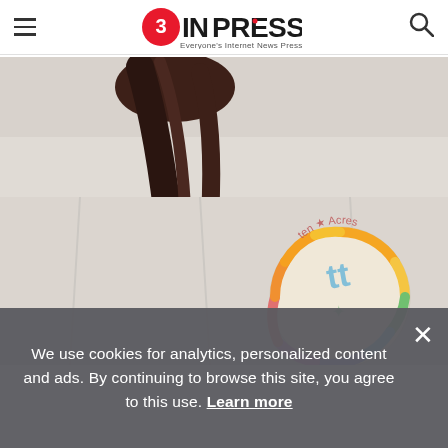EINPresswire — Everyone's Internet News Presswire
[Figure (photo): Close-up photo of a person wearing a light grey heathered sweatshirt or T-shirt with a circular tie-dye style graphic and script text on it. The person's long dark hair is pulled back in a ponytail. Only the upper torso and part of the head/hair are visible.]
We use cookies for analytics, personalized content and ads. By continuing to browse this site, you agree to this use. Learn more